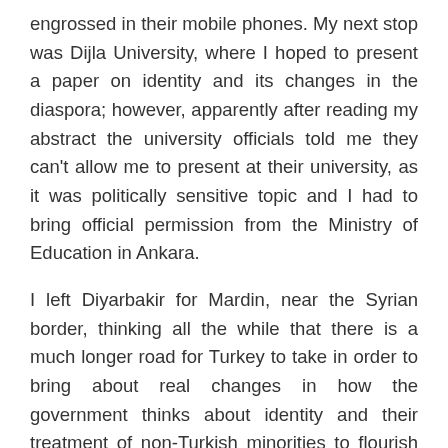engrossed in their mobile phones. My next stop was Dijla University, where I hoped to present a paper on identity and its changes in the diaspora; however, apparently after reading my abstract the university officials told me they can't allow me to present at their university, as it was politically sensitive topic and I had to bring official permission from the Ministry of Education in Ankara.
I left Diyarbakir for Mardin, near the Syrian border, thinking all the while that there is a much longer road for Turkey to take in order to bring about real changes in how the government thinks about identity and their treatment of non-Turkish minorities to flourish in their sense of belonging and cultural identity.
Mardin is a beautiful, historic town built in the 13th century, its town centre and shops dominated by Arabic speakers who claim they come from Syria and Jazira town.
Walking through the bazaar and speaking to the locals almost